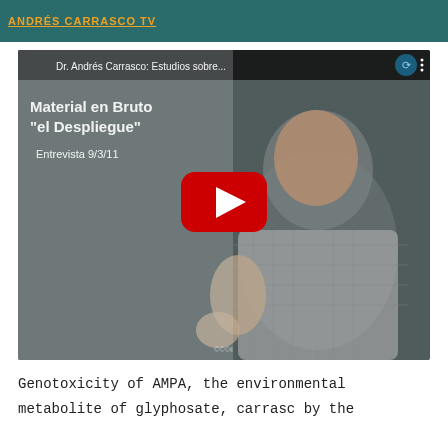ANDRÉS CARRASCO TV
[Figure (screenshot): YouTube video thumbnail showing Dr. Andrés Carrasco being interviewed. The video title overlay reads 'Dr. Andrés Carrasco: Estudios sobre...' at the top. Left side text overlay shows 'Material en Bruto "el Despliegue"' and 'Entrevista 9/3/11'. A red YouTube play button is centered on the video. A YouTube channel icon (blue swirl) appears in the top right.]
Genotoxicity of AMPA, the environmental metabolite of glyphosate, carrasc by the